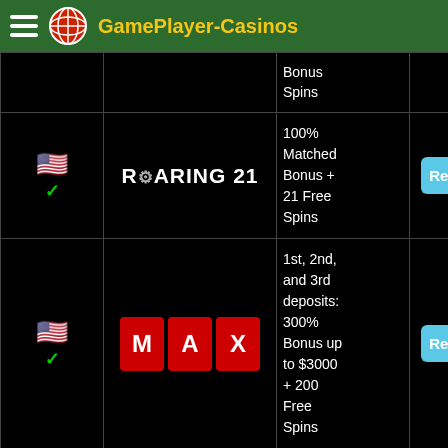GamePlayer-Casinos
| Flag | Casino | Bonus | Action |
| --- | --- | --- | --- |
| 🇺🇸✓ |  | Bonus Spins | Review |
| 🇺🇸✓ | ROARING 21 | 100% Matched Bonus + 21 Free Spins | Review |
| 🇺🇸✓ | MAX | 1st, 2nd, and 3rd deposits: 300% Bonus up to $3000 + 200 Free Spins | Review |
| 🇺🇸✓ | CHERRY JACKPOT | 200% Bonus on your first 10 Deposits | Review |